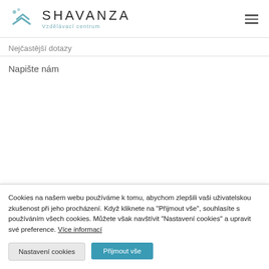[Figure (logo): Shavanza Vzdělávací centrum logo with fish/arrow icon and text]
Nejčastější dotazy
Napište nám
Cookies na našem webu používáme k tomu, abychom zlepšili vaši uživatelskou zkušenost při jeho procházení. Když kliknete na "Přijmout vše", souhlasíte s používáním všech cookies. Můžete však navštívit "Nastavení cookies" a upravit své preference. Více informací
Nastavení cookies
Přijmout vše